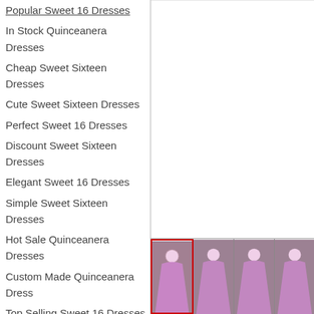Popular Sweet 16 Dresses
In Stock Quinceanera Dresses
Cheap Sweet Sixteen Dresses
Cute Sweet Sixteen Dresses
Perfect Sweet 16 Dresses
Discount Sweet Sixteen Dresses
Elegant Sweet 16 Dresses
Simple Sweet Sixteen Dresses
Hot Sale Quinceanera Dresses
Custom Made Quinceanera Dress
Top Selling Sweet 16 Dresses
Modest Sweet Sixteen Dresses
Plus Size Sweet 16 Dresses
Military Ball Dresses
Pretty Quinceanera Dresses
Sweet Fifteen Dresses
Sweet 16 Ball Gowns
Quinceanera Package
Princesita With Quinceanera Dresses
Real Sample Quinceanera Dresses
Beautiful Quinceanera Dresses
[Figure (photo): Large white/empty product image area (top right)]
[Figure (photo): Four thumbnail images of women in pink/purple quinceanera ball gowns, first image has red border]
[Figure (photo): Thumbnail 2: woman in pink/purple quinceanera gown]
[Figure (photo): Thumbnail 3: woman in pink/purple quinceanera gown]
[Figure (photo): Thumbnail 4: woman in pink/purple quinceanera gown, partially visible]